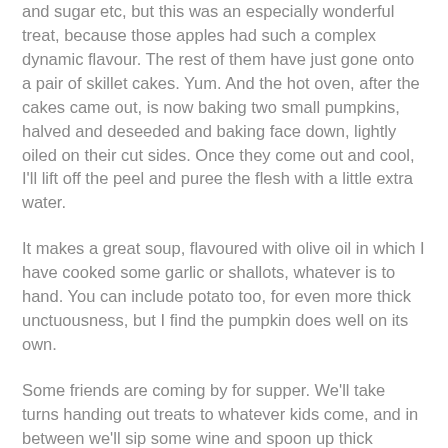and sugar etc, but this was an especially wonderful treat, because those apples had such a complex dynamic flavour. The rest of them have just gone onto a pair of skillet cakes. Yum. And the hot oven, after the cakes came out, is now baking two small pumpkins, halved and deseeded and baking face down, lightly oiled on their cut sides. Once they come out and cool, I'll lift off the peel and puree the flesh with a little extra water.
It makes a great soup, flavoured with olive oil in which I have cooked some garlic or shallots, whatever is to hand. You can include potato too, for even more thick unctuousness, but I find the pumpkin does well on its own.
Some friends are coming by for supper. We'll take turns handing out treats to whatever kids come, and in between we'll sip some wine and spoon up thick orange pumpkin soup. Not sure what the rest of the menu is; it will take shape as I forage through the frig!
Happy Halloween everyone.